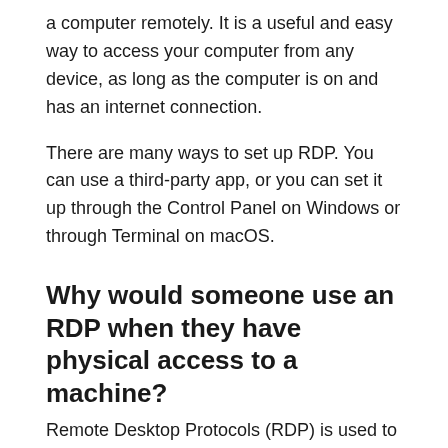a computer remotely. It is a useful and easy way to access your computer from any device, as long as the computer is on and has an internet connection.
There are many ways to set up RDP. You can use a third-party app, or you can set it up through the Control Panel on Windows or through Terminal on macOS.
Why would someone use an RDP when they have physical access to a machine?
Remote Desktop Protocols (RDP) is used to provide remote access to a computer that is not in front of you. It can be used for various purposes, including troubleshooting, repairing, and monitoring.